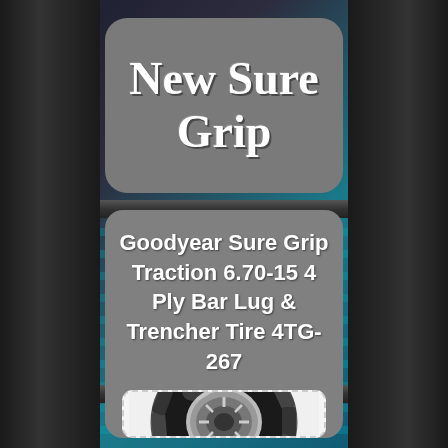New Sure Grip
Goodyear Sure Grip Traction 6.70-15 4 Ply Bar Lug & Trencher Tire 4TG-267
[Figure (photo): Goodyear Sure Grip traction tire with bar lug pattern, shown in black and silver, photographed at an angle on white background]